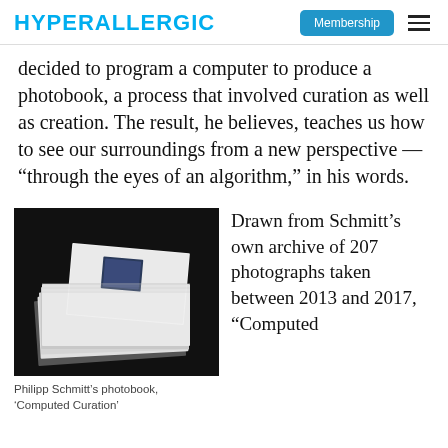HYPERALLERGIC | Membership
decided to program a computer to produce a photobook, a process that involved curation as well as creation. The result, he believes, teaches us how to see our surroundings from a new perspective — “through the eyes of an algorithm,” in his words.
[Figure (photo): Philipp Schmitt's photobook 'Computed Curation' — a stack of white cards/prints on a dark background with a small inset image visible on top]
Philipp Schmitt's photobook, 'Computed Curation'
Drawn from Schmitt’s own archive of 207 photographs taken between 2013 and 2017, “Computed